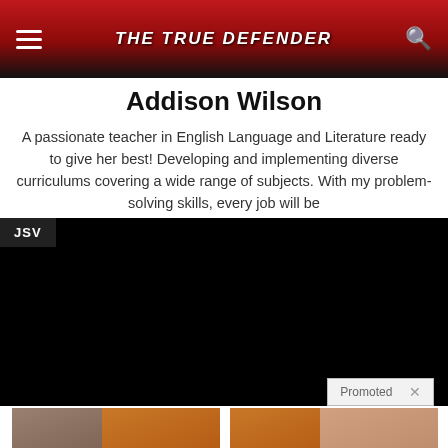THE TRUE DEFENDER
Addison Wilson
A passionate teacher in English Language and Literature ready to give her best! Developing and implementing diverse curriculums covering a wide range of subjects. With my problem-solving skills, every job will be
[Figure (screenshot): Black advertisement area with JSV label overlay]
Promoted ×
[Figure (photo): Fitness woman and spice spoon image for article: A Teaspoon On An Empty Stomach Burns Fat Like Crazy!]
A Teaspoon On An Empty Stomach Burns Fat Like Crazy!
🔥 151,768
[Figure (photo): Spice spoon and belly image for article: These 2 Vegetables Kill Your Belly And Arm Fat Overnight]
These 2 Vegetables Kill Your Belly And Arm Fat Overnight
🔥 15,788